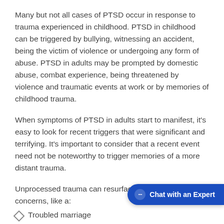Many but not all cases of PTSD occur in response to trauma experienced in childhood. PTSD in childhood can be triggered by bullying, witnessing an accident, being the victim of violence or undergoing any form of abuse. PTSD in adults may be prompted by domestic abuse, combat experience, being threatened by violence and traumatic events at work or by memories of childhood trauma.
When symptoms of PTSD in adults start to manifest, it's easy to look for recent triggers that were significant and terrifying. It's important to consider that a recent event need not be noteworthy to trigger memories of a more distant trauma.
Unprocessed trauma can resurface following smaller concerns, like a:
Troubled marriage